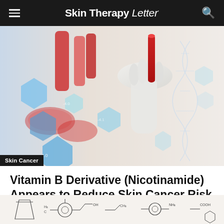Skin Therapy Letter
[Figure (photo): Laboratory photo showing a gloved hand holding a red test tube, with blue hexagonal molecular structure overlays and scientific data visualizations in the background]
Skin Cancer
Vitamin B Derivative (Nicotinamide) Appears to Reduce Skin Cancer Risk
Recent studies have demonstrated the role of Vitamin B Derivative (Nicotinamide), in both topical and oral forms, as a chemopreventive agent against skin cancer.
[Figure (photo): Close-up photo of chemical structure diagrams drawn on paper with a pen or pencil visible]